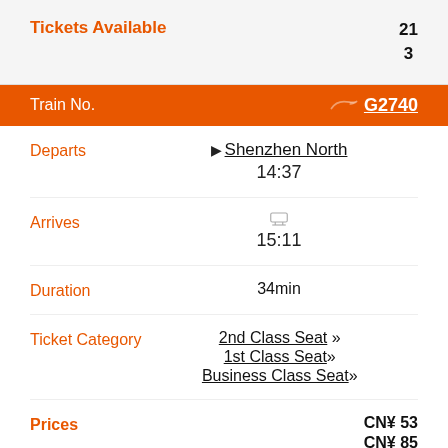Tickets Available   21
3
Train No.   G2740
Departs   Shenzhen North   14:37
Arrives   15:11
Duration   34min
Ticket Category   2nd Class Seat »   1st Class Seat»   Business Class Seat»
Prices   CN¥ 53   CN¥ 85